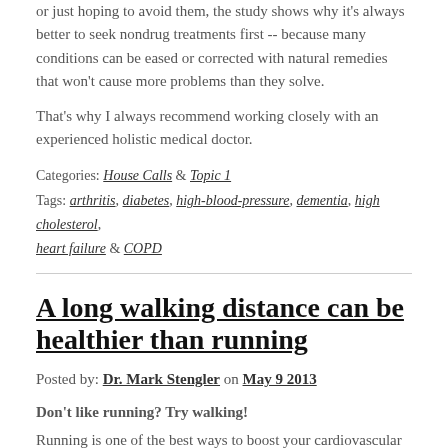or just hoping to avoid them, the study shows why it's always better to seek nondrug treatments first -- because many conditions can be eased or corrected with natural remedies that won't cause more problems than they solve.
That's why I always recommend working closely with an experienced holistic medical doctor.
Categories: House Calls & Topic 1
Tags: arthritis, diabetes, high-blood-pressure, dementia, high cholesterol, heart failure & COPD
A long walking distance can be healthier than running
Posted by: Dr. Mark Stengler on May 9 2013
Don't like running? Try walking!
Running is one of the best ways to boost your cardiovascular health...